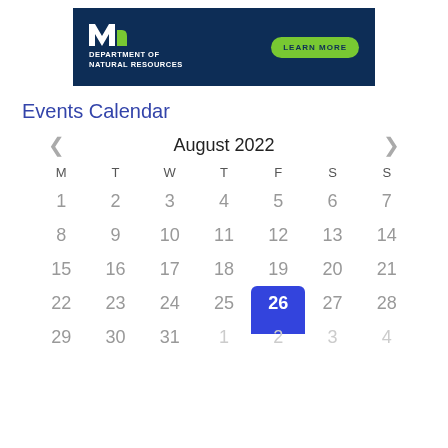[Figure (logo): Minnesota Department of Natural Resources banner with green Learn More button on dark blue background]
Events Calendar
| M | T | W | T | F | S | S |
| --- | --- | --- | --- | --- | --- | --- |
| 1 | 2 | 3 | 4 | 5 | 6 | 7 |
| 8 | 9 | 10 | 11 | 12 | 13 | 14 |
| 15 | 16 | 17 | 18 | 19 | 20 | 21 |
| 22 | 23 | 24 | 25 | 26 | 27 | 28 |
| 29 | 30 | 31 | 1 | 2 | 3 | 4 |